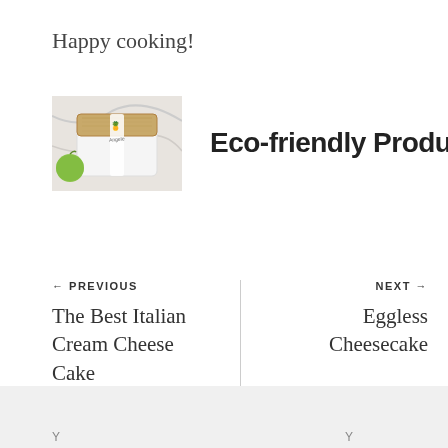Happy cooking!
[Figure (photo): Product banner image showing a wooden lunch box with white strap and green apple, next to the text 'Eco-friendly Products']
← PREVIOUS
The Best Italian Cream Cheese Cake Recipe
NEXT →
Eggless Cheesecake
Y     Y